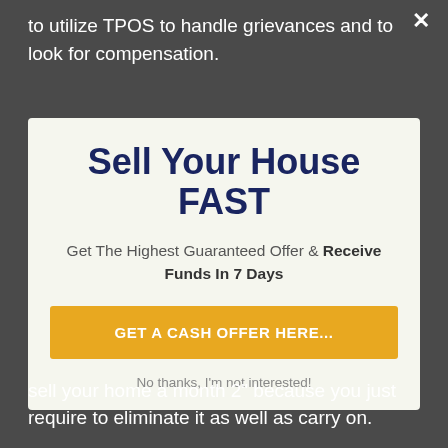to utilize TPOS to handle grievances and to look for compensation.
Sell Your House FAST
Get The Highest Guaranteed Offer & Receive Funds In 7 Days
GET A CASH OFFER HERE...
No thanks, I'm not interested!
sell your home a month 2" because you just require to eliminate it as well as carry on.